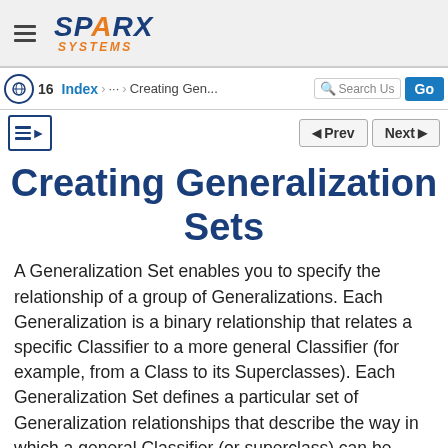SPARX SYSTEMS
16  Index  ...  Creating Gen...  Search Us  Go
Creating Generalization Sets
A Generalization Set enables you to specify the relationship of a group of Generalizations. Each Generalization is a binary relationship that relates a specific Classifier to a more general Classifier (for example, from a Class to its Superclasses). Each Generalization Set defines a particular set of Generalization relationships that describe the way in which a general Classifier (or superclass) can be divided using specific subtypes.